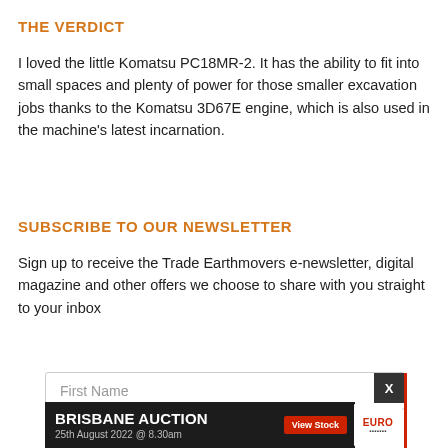THE VERDICT
I loved the little Komatsu PC18MR-2. It has the ability to fit into small spaces and plenty of power for those smaller excavation jobs thanks to the Komatsu 3D67E engine, which is also used in the machine's latest incarnation.
SUBSCRIBE TO OUR NEWSLETTER
Sign up to receive the Trade Earthmovers e-newsletter, digital magazine and other offers we choose to share with you straight to your inbox
[Figure (screenshot): Form input field showing 'First Name' placeholder text with a close (X) button, partially overlaid by a Brisbane Auction advertisement banner for Euro Auctions dated 25th August 2022 @ 8.30am with a 'View Stock' button and Euro Auctions logo]